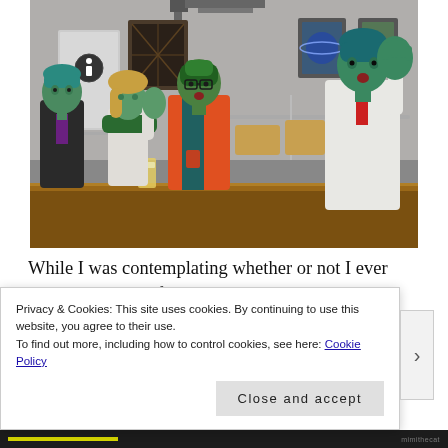[Figure (screenshot): A screenshot from The Sims 4 video game showing four Sim characters with green-tinted skin at a bar counter. From left: a Sim in a dark suit with teal hair, a Sim in white with teal/green hair, a Sim in an orange and teal jacket with green hair and glasses, and a Sim in a white suit with teal hair gesturing with raised hand. Bar interior with doors, artwork on walls visible in background.]
While I was contemplating whether or not I ever stomach my best friend to hooking up with my sister, she was introducing herself to a strange man at the end of the bar.
Privacy & Cookies: This site uses cookies. By continuing to use this website, you agree to their use.
To find out more, including how to control cookies, see here: Cookie Policy
Close and accept